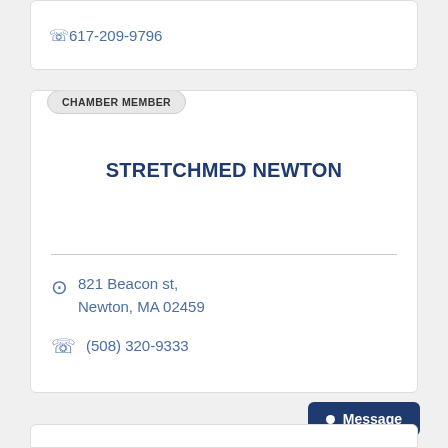617-209-9796
CHAMBER MEMBER
STRETCHMED NEWTON
821 Beacon st, Newton, MA 02459
(508) 320-9333
Message